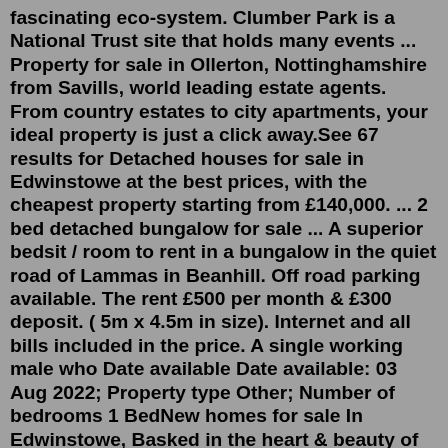fascinating eco-system. Clumber Park is a National Trust site that holds many events ... Property for sale in Ollerton, Nottinghamshire from Savills, world leading estate agents. From country estates to city apartments, your ideal property is just a click away.See 67 results for Detached houses for sale in Edwinstowe at the best prices, with the cheapest property starting from £140,000. ... 2 bed detached bungalow for sale ... A superior bedsit / room to rent in a bungalow in the quiet road of Lammas in Beanhill. Off road parking available. The rent £500 per month & £300 deposit. ( 5m x 4.5m in size). Internet and all bills included in the price. A single working male who Date available Date available: 03 Aug 2022; Property type Other; Number of bedrooms 1 BedNew homes for sale In Edwinstowe, Basked in the heart & beauty of North Nottinghamshire, with beautiful greenery and a active social presence. 01623 827695. Developments. ... Edwinstowe High Street is within a 5 minute drive from Rufford Pastures it has the with a variety of individual and boutique